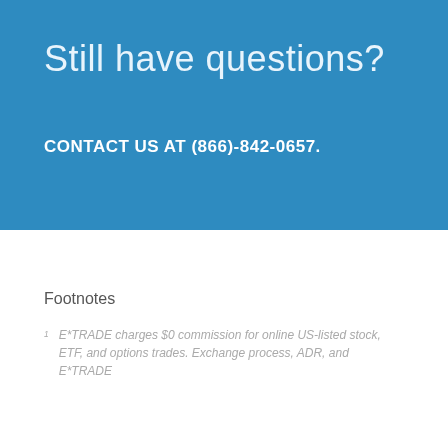Still have questions?
CONTACT US AT (866)-842-0657.
Footnotes
1   E*TRADE charges $0 commission for online US-listed stock, ETF, and options trades. Exchange process, ADR, and E*TRADE